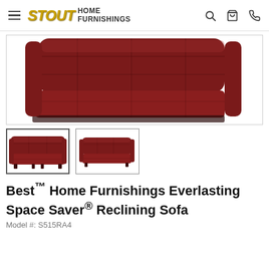Stout Home Furnishings — navigation header with hamburger menu, logo, search, cart, and phone icons
[Figure (photo): Main product image showing a dark red/burgundy tufted reclining sofa, close-up cropped view showing the top and back portion of the sofa against white background, inside a bordered frame.]
[Figure (photo): Thumbnail 1: full view of dark red/burgundy tufted reclining sofa, front angle, selected thumbnail with border.]
[Figure (photo): Thumbnail 2: full view of dark red/burgundy tufted reclining sofa, slight angle view, unselected thumbnail.]
Best™ Home Furnishings Everlasting Space Saver® Reclining Sofa
Model #: S515RA4